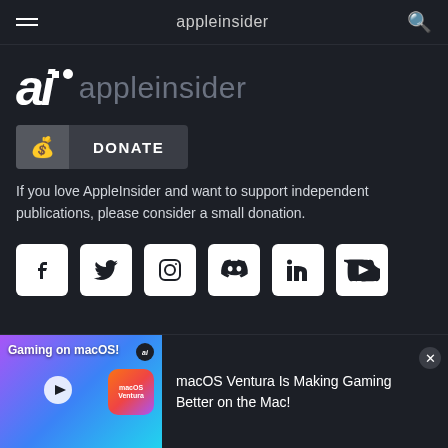appleinsider
[Figure (logo): AppleInsider 'ai' brand logo with text 'appleinsider']
[Figure (other): Donate button with money bag icon and text DONATE]
If you love AppleInsider and want to support independent publications, please consider a small donation.
[Figure (other): Social media icons row: Facebook, Twitter, Instagram, Discord, LinkedIn, YouTube]
[Figure (other): Notification banner: Gaming on macOS! thumbnail with macOS Ventura Is Making Gaming Better on the Mac!]